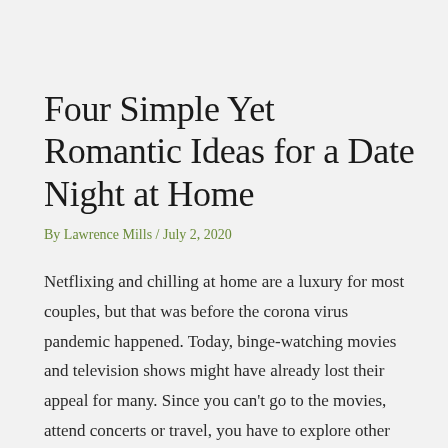Four Simple Yet Romantic Ideas for a Date Night at Home
By Lawrence Mills / July 2, 2020
Netflixing and chilling at home are a luxury for most couples, but that was before the corona virus pandemic happened. Today, binge-watching movies and television shows might have already lost their appeal for many. Since you can't go to the movies, attend concerts or travel, you have to explore other